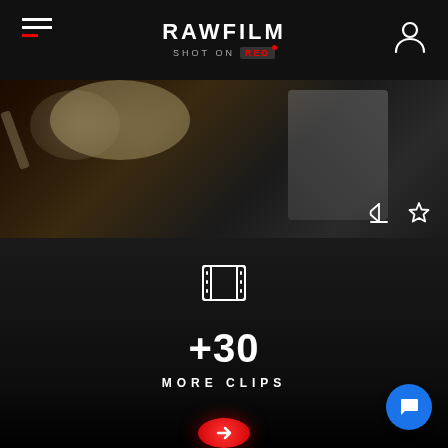RAWFILM — SHOT ON RED
[Figure (screenshot): Dark video thumbnail showing drummer playing cymbals, with download and star icons in the bottom right corner]
[Figure (infographic): Film strip icon, +30 MORE CLIPS text, red circular arrow button, and blue chat button on dark background]